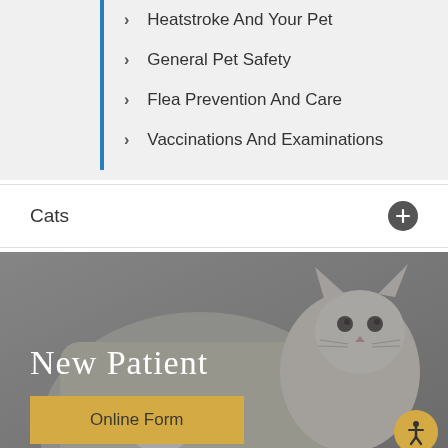> Heatstroke And Your Pet
> General Pet Safety
> Flea Prevention And Care
> Vaccinations And Examinations
Cats
[Figure (photo): Person in grey sweater holding a white and grey fluffy cat, used as background for New Patient section]
New Patient
Online Form